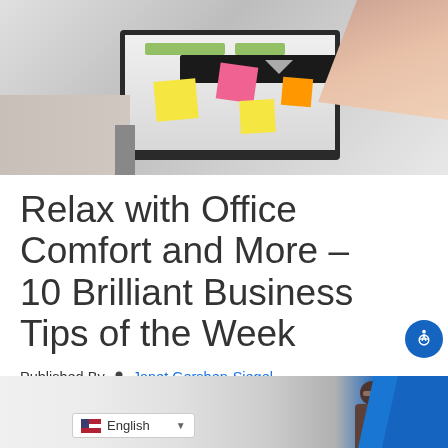[Figure (photo): Hero image showing a computer monitor with colorful sticky notes (yellow, pink, orange) on the screen, with a person's hand reaching toward the screen from the right side. A dark bar is visible across the monitor area. The person is wearing a plaid/checked shirt sleeve.]
Relax with Office Comfort and More –10 Brilliant Business Tips of the Week
Published By  Janet Gershen-Siegel
at  October 25th, 2019
[Figure (photo): Bottom portion of an image showing a person (partially visible, wearing glasses) against a light background, with blue geometric shapes on the right side.]